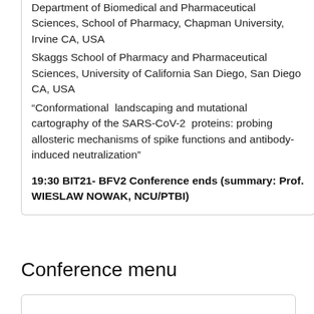Department of Biomedical and Pharmaceutical Sciences, School of Pharmacy, Chapman University, Irvine CA, USA
Skaggs School of Pharmacy and Pharmaceutical Sciences, University of California San Diego, San Diego CA, USA
“Conformational landscaping and mutational cartography of the SARS-CoV-2 proteins: probing allosteric mechanisms of spike functions and antibody-induced neutralization”
19:30 BIT21- BFV2 Conference ends (summary: Prof. WIESLAW NOWAK, NCU/PTBI)
Conference menu